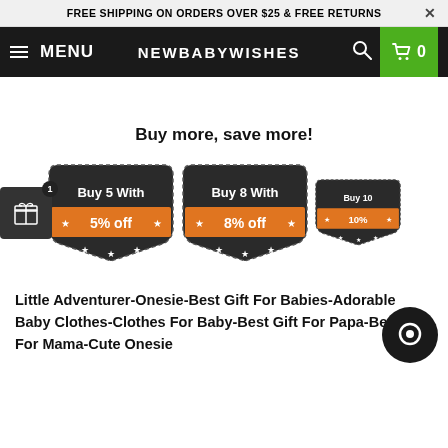FREE SHIPPING ON ORDERS OVER $25 & FREE RETURNS
MENU  NEWBABYWISHES  0
Buy more, save more!
[Figure (infographic): Three dark badge/shield shaped discount icons: Buy 5 With 5% off, Buy 8 With 8% off, Buy 10 With 10% off]
Little Adventurer-Onesie-Best Gift For Babies-Adorable Baby Clothes-Clothes For Baby-Best Gift For Papa-Best Gift For Mama-Cute Onesie